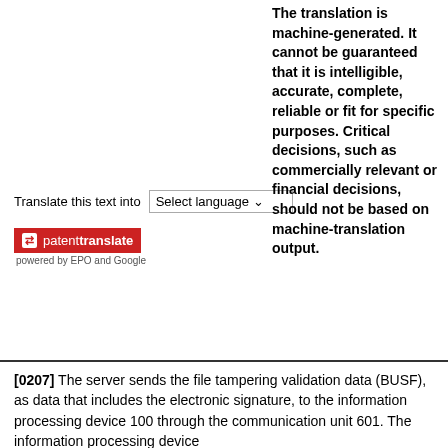Translate this text into [Select language]
[Figure (logo): patenttranslate logo - red box with arrows icon, text 'patenttranslate', subtitle 'powered by EPO and Google']
The translation is machine-generated. It cannot be guaranteed that it is intelligible, accurate, complete, reliable or fit for specific purposes. Critical decisions, such as commercially relevant or financial decisions, should not be based on machine-translation output.
[0207] The server sends the file tampering validation data (BUSF), as data that includes the electronic signature, to the information processing device 100 through the communication unit 601. The information processing device